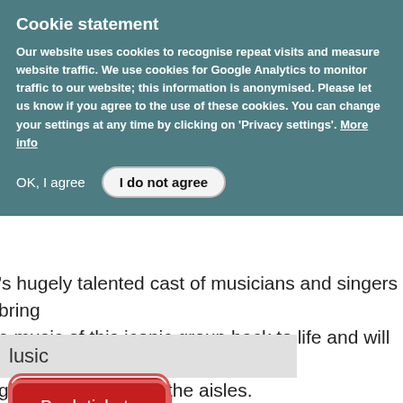Cookie statement
Our website uses cookies to recognise repeat visits and measure website traffic. We use cookies for Google Analytics to monitor traffic to our website; this information is anonymised. Please let us know if you agree to the use of these cookies. You can change your settings at any time by clicking on 'Privacy settings'. More info
's hugely talented cast of musicians and singers bring the music of this iconic group back to life and will have you singing and dancing in the aisles.
lusic
Book tickets
[Figure (photo): Poster for 'Back to the 80s with the A Capella All-Stars!' show, dark blue background with performers]